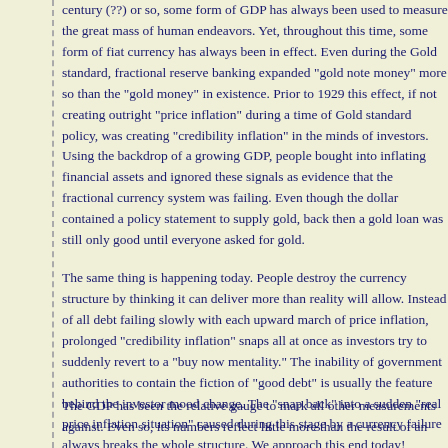century (??) or so, some form of GDP has always been used to measure the great mass of human endeavors. Yet, throughout this time, some form of fiat currency has always been in effect. Even during the Gold standard, fractional reserve banking expanded "gold note money" more so than the "gold money" in existence. Prior to 1929 this effect, if not creating outright "price inflation" during a time of Gold standard policy, was creating "credibility inflation" in the minds of investors. Using the backdrop of a growing GDP, people bought into inflating financial assets and ignored these signals as evidence that the fractional currency system was failing. Even though the dollar contained a policy statement to supply gold, back then a gold loan was still only good until everyone asked for gold.
The same thing is happening today. People destroy the currency structure by thinking it can deliver more than reality will allow. Instead of all debt failing slowly with each upward march of price inflation, prolonged "credibility inflation" snaps all at once as investors try to suddenly revert to a "buy now mentality." The inability of government authorities to contain the fiction of "good debt" is usually the feature behind the investor mood change. The "snap back" into a sudden "real price inflation situation" caused during this stage by a currency failure always breaks the whole structure. We approach this end today!
The GDP has been the relative gauge to mark all other measurements against. Even so, its numbers reflect little more than the result of an